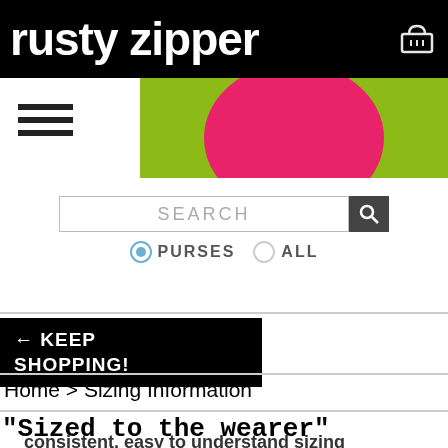rusty zipper
[Figure (illustration): Colorful banner with green background and pink/magenta circular shape]
[Figure (other): Hamburger menu icon (three horizontal lines)]
SEARCH
PURSES  ALL (radio buttons)
← KEEP SHOPPING!
Home > Sizing Information
"Sized to the wearer"
consistent, easy to understand sizing
All of our clothing sizes are "sized to the wearer". If yo listed as "36Bust" will fit you. We take into account the fit with slight ease for